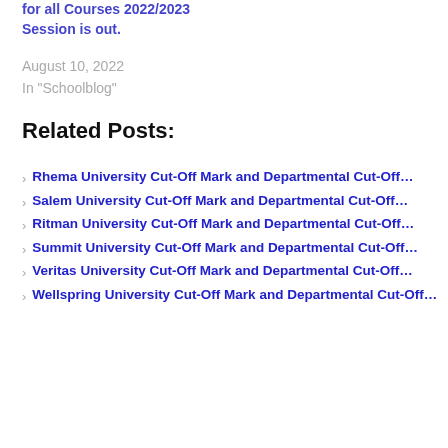for all Courses 2022/2023 Session is out.
August 10, 2022
In "Schoolblog"
Related Posts:
Rhema University Cut-Off Mark and Departmental Cut-Off…
Salem University Cut-Off Mark and Departmental Cut-Off…
Ritman University Cut-Off Mark and Departmental Cut-Off…
Summit University Cut-Off Mark and Departmental Cut-Off…
Veritas University Cut-Off Mark and Departmental Cut-Off…
Wellspring University Cut-Off Mark and Departmental Cut-Off…